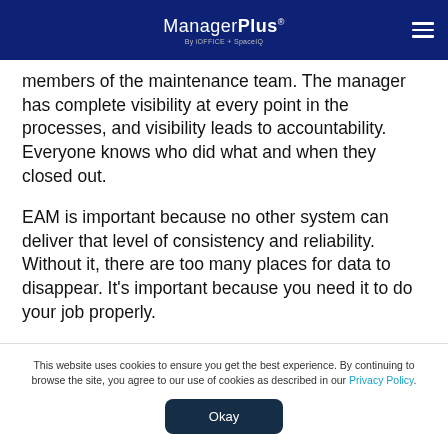ManagerPlus By iOFFICE + SpaceIQ
members of the maintenance team. The manager has complete visibility at every point in the processes, and visibility leads to accountability. Everyone knows who did what and when they closed out.
EAM is important because no other system can deliver that level of consistency and reliability. Without it, there are too many places for data to disappear. It’s important because you need it to do your job properly.
This website uses cookies to ensure you get the best experience. By continuing to browse the site, you agree to our use of cookies as described in our Privacy Policy.